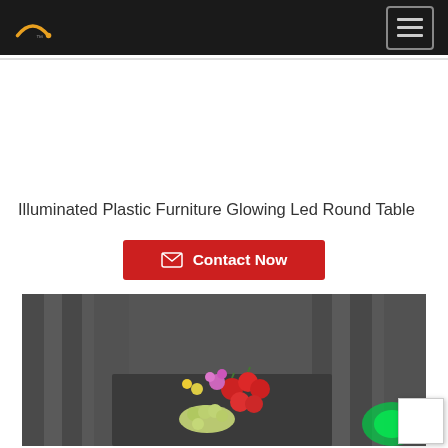Navigation bar with logo and hamburger menu
Illuminated Plastic Furniture Glowing Led Round Table
Contact Now
[Figure (photo): Photo of a round table with flowers including tomatoes, grapes, and colorful blooms set against a dark draped background with a green glowing light visible.]